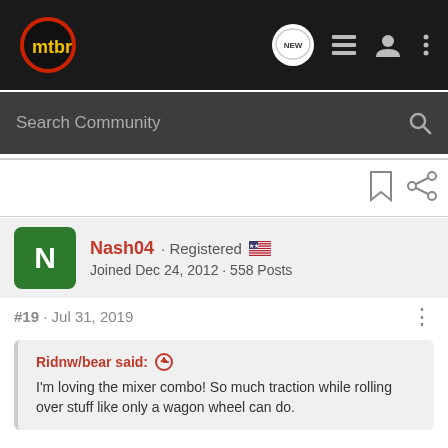mtbr — navigation bar with Search Community search box
[Figure (screenshot): mtbr logo — circular dark background with red ring and yellow 'mtbr' text]
Search Community
Nash04 · Registered 🇺🇸
Joined Dec 24, 2012 · 558 Posts
#19 · Jul 31, 2019
Ridnw/bear said: ↑
I'm loving the mixer combo! So much traction while rolling over stuff like only a wagon wheel can do.
Totally agree with you. Have this setup on my Stumpy for the past 3 y...
I'm waiti...
[Figure (photo): THE NEW 2022 SILVERADO. Explore — Chevrolet truck advertisement]